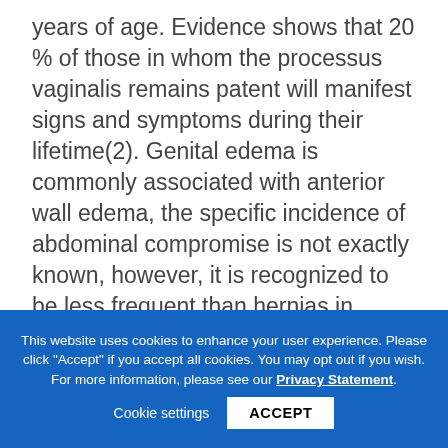years of age. Evidence shows that 20 % of those in whom the processus vaginalis remains patent will manifest signs and symptoms during their lifetime(2). Genital edema is commonly associated with anterior wall edema, the specific incidence of abdominal compromise is not exactly known, however, it is recognized to be less frequent than hernias in peritoneal dialysis patients(3).
This website uses cookies to enhance your user experience. Please click "Accept" if you accept all cookies. You may opt out if you wish. For more information, please see our Privacy Statement.